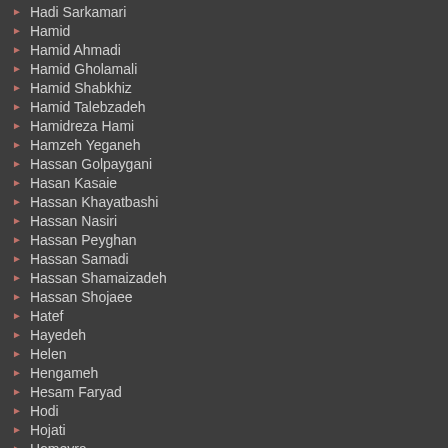Hadi Sarkamari
Hamid
Hamid Ahmadi
Hamid Gholamali
Hamid Shabkhiz
Hamid Talebzadeh
Hamidreza Hami
Hamzeh Yeganeh
Hassan Golpaygani
Hasan Kasaie
Hassan Khayatbashi
Hassan Nasiri
Hassan Peyghan
Hassan Samadi
Hassan Shamaizadeh
Hassan Shojaee
Hatef
Hayedeh
Helen
Hengameh
Hesam Faryad
Hodi
Hojati
Homeyra
Hooman